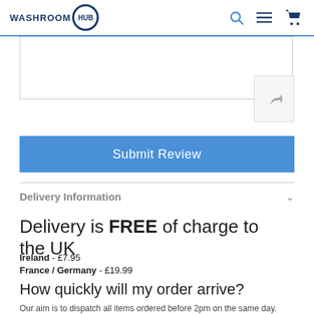WASHROOM HUB
Submit Review
Delivery Information
Delivery is FREE of charge to the UK
Ireland - £7.95
France / Germany - £19.99
How quickly will my order arrive?
Our aim is to dispatch all items ordered before 2pm on the same day.